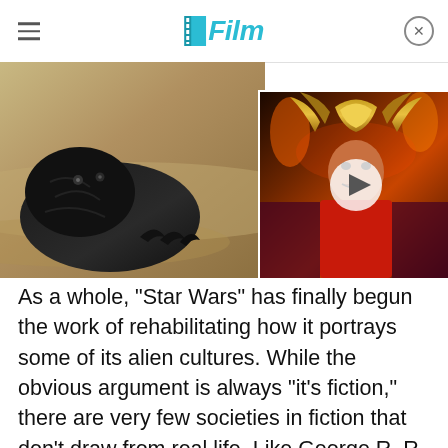/Film
[Figure (photo): Left: A dark creature partially buried in sand from Star Wars. Right: A video thumbnail of a costumed figure (Asgardian warrior) with a play button overlay, from a Marvel/fantasy scene.]
As a whole, "Star Wars" has finally begun the work of rehabilitating how it portrays some of its alien cultures. While the obvious argument is always "it's fiction," there are very few societies in fiction that don't draw from real life. Like George R. R. Martin's Dothraki, who borrowed elements from Mongolian history, "A New Hope" also took its inspiration from nomadic cultures. The Tuskens were designed around the Bedouins, Arabic nomads with centuries of complex history.